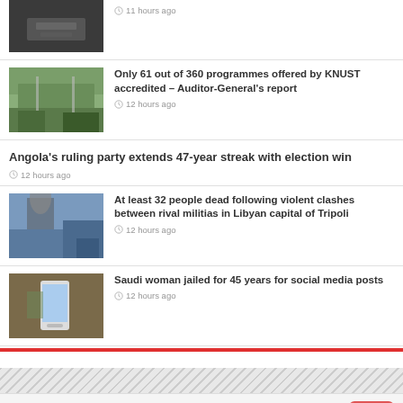[Figure (photo): Partial news item thumbnail at top - person with hands]
11 hours ago
[Figure (photo): KNUST campus entrance with vehicles]
Only 61 out of 360 programmes offered by KNUST accredited – Auditor-General's report
12 hours ago
Angola's ruling party extends 47-year streak with election win
12 hours ago
[Figure (photo): Smoke rising from buildings, militia clashes in Tripoli]
At least 32 people dead following violent clashes between rival militias in Libyan capital of Tripoli
12 hours ago
[Figure (photo): Person holding smartphone, social media]
Saudi woman jailed for 45 years for social media posts
12 hours ago